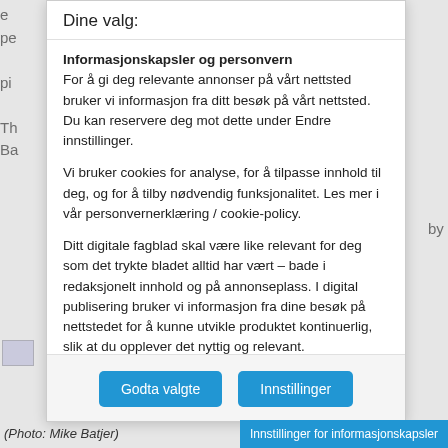e
pe
pi
Th
Ba
by
Dine valg:
Informasjonskapsler og personvern
For å gi deg relevante annonser på vårt nettsted bruker vi informasjon fra ditt besøk på vårt nettsted. Du kan reservere deg mot dette under Endre innstillinger.
Vi bruker cookies for analyse, for å tilpasse innhold til deg, og for å tilby nødvendig funksjonalitet. Les mer i vår personvernerklæring / cookie-policy.
Ditt digitale fagblad skal være like relevant for deg som det trykte bladet alltid har vært – bade i redaksjonelt innhold og på annonseplass. I digital publisering bruker vi informasjon fra dine besøk på nettstedet for å kunne utvikle produktet kontinuerlig, slik at du opplever det nyttig og relevant.
Godta valgte
Innstillinger
(Photo: Mike Batjer)
Innstillinger for informasjonskapsler